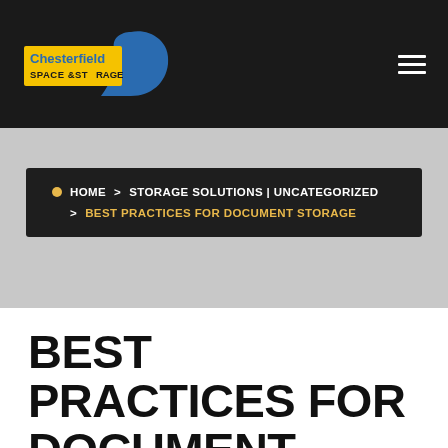[Figure (logo): Chesterfield Space & Storage logo with yellow/blue design and blue swoosh shape]
HOME > STORAGE SOLUTIONS | UNCATEGORIZED > BEST PRACTICES FOR DOCUMENT STORAGE
BEST PRACTICES FOR DOCUMENT STORAGE
David Osborne   Leave A Comment   Jan 29, 2016